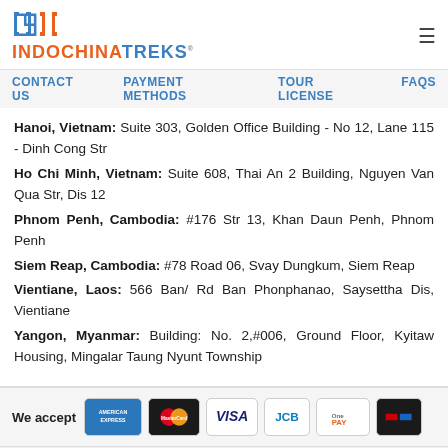[Figure (logo): IndochinaTraks logo with orange and blue text]
CONTACT US   PAYMENT METHODS   TOUR LICENSE   FAQs
Hanoi, Vietnam: Suite 303, Golden Office Building - No 12, Lane 115 - Dinh Cong Str
Ho Chi Minh, Vietnam: Suite 608, Thai An 2 Building, Nguyen Van Qua Str, Dis 12
Phnom Penh, Cambodia: #176 Str 13, Khan Daun Penh, Phnom Penh
Siem Reap, Cambodia: #78 Road 06, Svay Dungkum, Siem Reap
Vientiane, Laos: 566 Ban/ Rd Ban Phonphanao, Saysettha Dis, Vientiane
Yangon, Myanmar: Building: No. 2,#006, Ground Floor, Kyitaw Housing, Mingalar Taung Nyunt Township
[Figure (logo): Payment method logos: American Express, MasterCard, VISA, JCB, OnePay, and one more card]
[Figure (other): Social media icon row: Facebook, Google+, Twitter, Pinterest, and more]